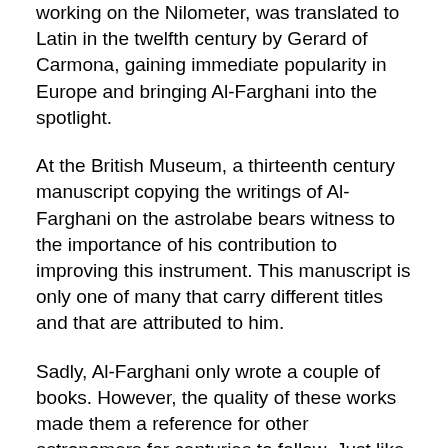working on the Nilometer, was translated to Latin in the twelfth century by Gerard of Carmona, gaining immediate popularity in Europe and bringing Al-Farghani into the spotlight.
At the British Museum, a thirteenth century manuscript copying the writings of Al-Farghani on the astrolabe bears witness to the importance of his contribution to improving this instrument. This manuscript is only one of many that carry different titles and that are attributed to him.
Sadly, Al-Farghani only wrote a couple of books. However, the quality of these works made them a reference for other astronomers for centuries to follow. Just like Al-Zarqali, Al-Battani and Al-Sufi, he became one of the greatest figures in the history of astronomy.
The astronomical observatory where he once worked in Iraq is long gone, but his Nilometer still stands in Cairo. It lost its function long ago as the old technology gave way to modern technology, but it never lost its charm, and one visit is enough to see it for yourself.